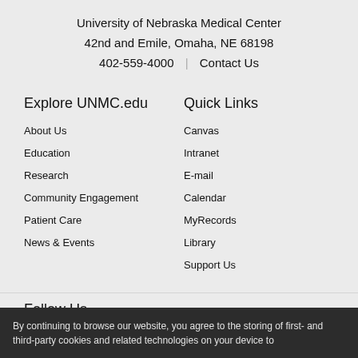University of Nebraska Medical Center
42nd and Emile, Omaha, NE 68198
402-559-4000 | Contact Us
Explore UNMC.edu
About Us
Education
Research
Community Engagement
Patient Care
News & Events
Quick Links
Canvas
Intranet
E-mail
Calendar
MyRecords
Library
Support Us
Follow Us
By continuing to browse our website, you agree to the storing of first- and third-party cookies and related technologies on your device to